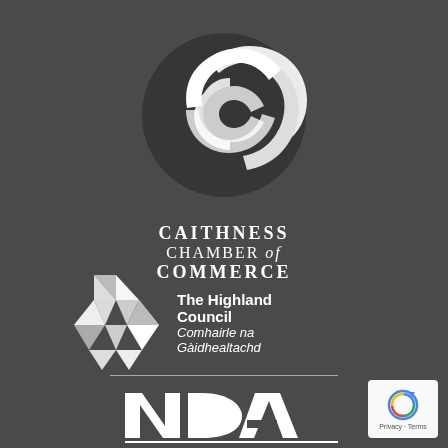[Figure (logo): Caithness Chamber of Commerce logo — interlocking C letters in white with dark outline, resembling the Chanel logo style, circular emblem]
CAITHNESS
CHAMBER of
COMMERCE
[Figure (logo): The Highland Council / Comhairle na Gàidhealtachd logo — geometric diamond/crystal shape made of triangular facets in white on dark background, with text to the right]
The Highland Council
Comhairle na Gàidhealtachd
[Figure (logo): NDA logo in large bold white stylized letters with an underline bar]
[Figure (logo): reCAPTCHA badge showing circular arrow icon with Privacy and Terms text]